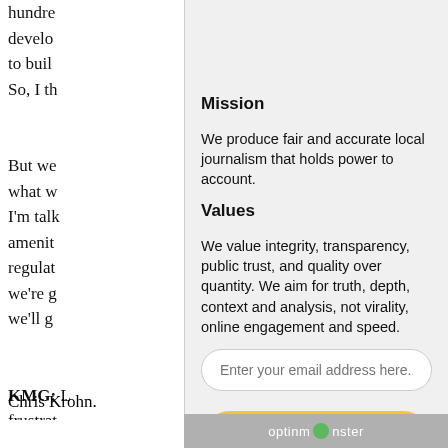hundre
develo
to buil
So, I th
Mission
We produce fair and accurate local journalism that holds power to account.
But we
what w
I'm talk
amenit
regulat
we're g
we'll g
Values
We value integrity, transparency, public trust, and quality over quantity. We aim for truth, depth, context and analysis, not virality, online engagement and speed.
KMG: L
frustra
lack of
worked
agree w
Chris Krohn.
optinmonster